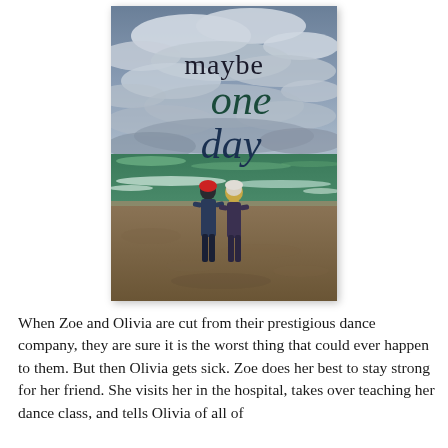[Figure (photo): Book cover of 'Maybe One Day' showing two figures standing on a beach facing the ocean under a dramatic cloudy sky. One figure wears a red hat, the other a white/light hat. The title text reads 'maybe one day' in large serif font with 'one day' in dark teal/green. Subtitle reads 'In the face of tragedy, friendship is everything.']
When Zoe and Olivia are cut from their prestigious dance company, they are sure it is the worst thing that could ever happen to them. But then Olivia gets sick. Zoe does her best to stay strong for her friend. She visits her in the hospital, takes over teaching her dance class, and tells Olivia of all of